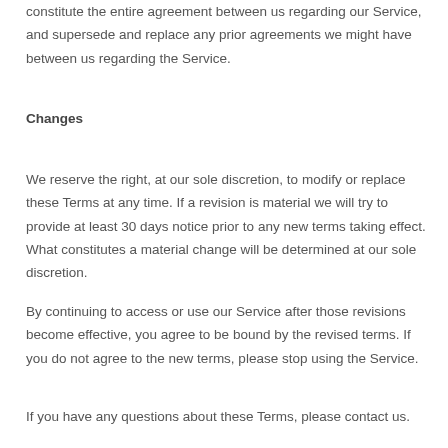constitute the entire agreement between us regarding our Service, and supersede and replace any prior agreements we might have between us regarding the Service.
Changes
We reserve the right, at our sole discretion, to modify or replace these Terms at any time. If a revision is material we will try to provide at least 30 days notice prior to any new terms taking effect. What constitutes a material change will be determined at our sole discretion.
By continuing to access or use our Service after those revisions become effective, you agree to be bound by the revised terms. If you do not agree to the new terms, please stop using the Service.
If you have any questions about these Terms, please contact us.